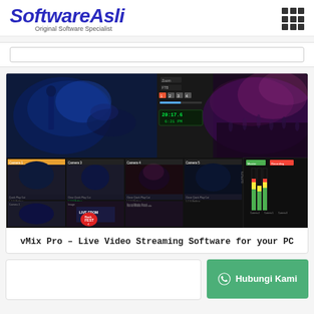SoftwareAsli — Original Software Specialist
[Figure (screenshot): vMix Pro live video streaming software interface showing multiple camera feeds, mixing controls, audio meters, and concert footage]
vMix Pro – Live Video Streaming Software for your PC
Hubungi Kami